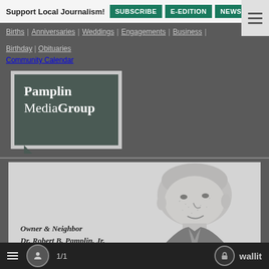Support Local Journalism! SUBSCRIBE E-EDITION NEWSLET
Births | Anniversaries | Weddings | Engagements | Business | Birthday | Obituaries
Community Calendar
[Figure (logo): Pamplin Media Group logo — white text on dark teal/grey background with speech-bubble frame]
[Figure (illustration): Black and white engraving-style portrait of a bald man in a suit, with caption 'Owner & Neighbor Dr. Robert B. Pamplin, Jr.']
Owner & Neighbor Dr. Robert B. Pamplin, Jr.
≡  👤  1/1   🔓 wallit